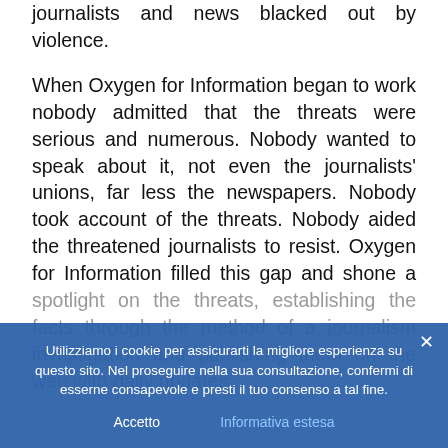journalists and news blacked out by violence.

When Oxygen for Information began to work nobody admitted that the threats were serious and numerous. Nobody wanted to speak about it, not even the journalists' unions, far less the newspapers. Nobody took account of the threats. Nobody aided the threatened journalists to resist. Oxygen for Information filled this gap and shone a spotlight on the threats, establishing the facts through the method of a journalism investigation and publishing them on the web with daily updates.
Utilizziamo i cookie per assicurarti la migliore esperienza su questo sito. Nel proseguire nella sua consultazione, confermi di esserne consapevole e presti il tuo consenso a tal fine.